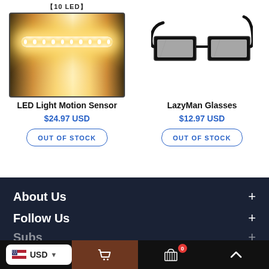[Figure (photo): LED Light bar showing 10 LEDs glowing warm white light against dark background]
[Figure (photo): LazyMan Glasses - prismatic periscope glasses shown on black frame]
LED Light Motion Sensor
$24.97 USD
OUT OF STOCK
LazyMan Glasses
$12.97 USD
OUT OF STOCK
About Us
Follow Us
Subscriptions
USD